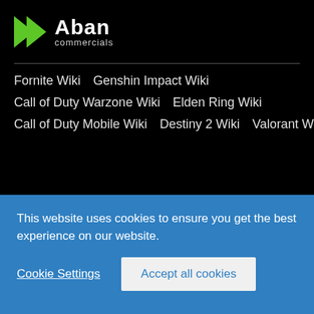[Figure (logo): Aban Commercials logo with green arrow/chevron icon and white text 'Aban commercials']
Fornite Wiki   Genshin Impact Wiki
Call of Duty Warzone Wiki   Elden Ring Wiki
Call of Duty Mobile Wiki   Destiny 2 Wiki   Valorant Wiki
Facebook Xbox Play & Games
This website uses cookies to ensure you get the best experience on our website.
Cookie Settings   Accept all cookies